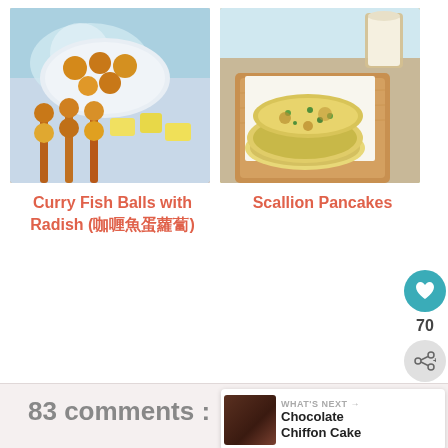[Figure (photo): Photo of Curry Fish Balls with Radish skewers on a plate with sauce]
[Figure (photo): Photo of Scallion Pancakes on a wooden cutting board with a glass of milk]
Curry Fish Balls with Radish (咖喱魚蛋蘿蔔)
Scallion Pancakes
70
83 comments :
WHAT'S NEXT → Chocolate Chiffon Cake